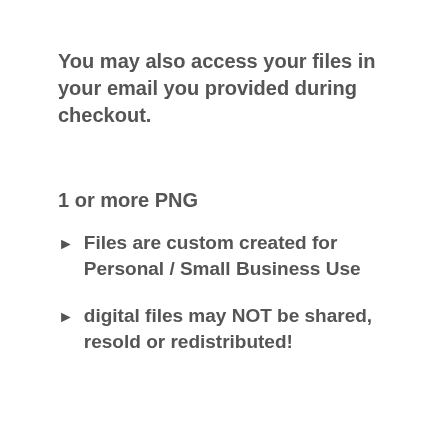You may also access your files in your email you provided during checkout.
1 or more PNG
Files are custom created for Personal / Small Business Use
digital files may NOT be shared, resold or redistributed!